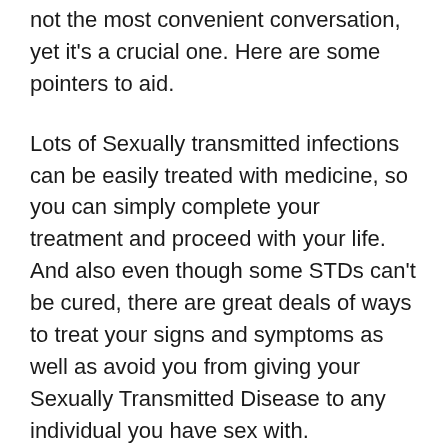not the most convenient conversation, yet it's a crucial one. Here are some pointers to aid.
Lots of Sexually transmitted infections can be easily treated with medicine, so you can simply complete your treatment and proceed with your life. And also even though some STDs can't be cured, there are great deals of ways to treat your signs and symptoms as well as avoid you from giving your Sexually Transmitted Disease to any individual you have sex with.
People with STDs can be in connections, make love, and live entirely regular lives. Most individuals obtain a STD at least as soon as, as well as millions are living with STDs currently.
Having a Sexually Transmitted Disease is